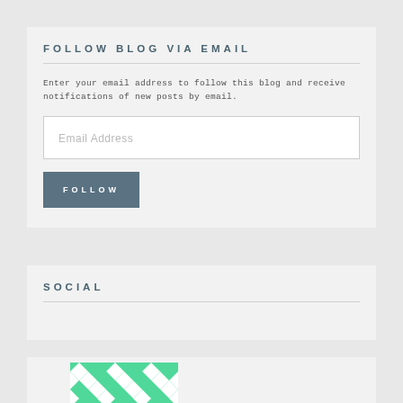FOLLOW BLOG VIA EMAIL
Enter your email address to follow this blog and receive notifications of new posts by email.
[Figure (other): Email address input text field with placeholder text 'Email Address']
[Figure (other): Follow button with text 'FOLLOW']
SOCIAL
[Figure (illustration): Green and white geometric/diamond pattern avatar image (Gravatar-style)]